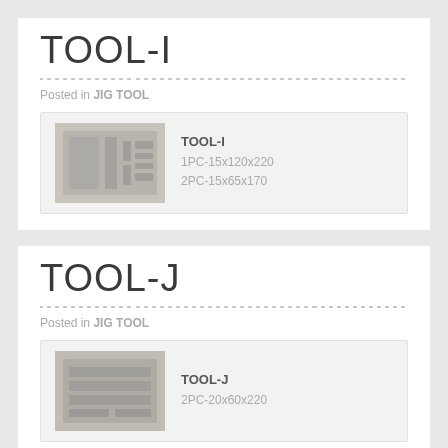TOOL-I
Posted in JIG TOOL
[Figure (photo): Photo of TOOL-I metal jig/tool set in a tray]
TOOL-I
1PC-15x120x220
2PC-15x65x170
TOOL-J
Posted in JIG TOOL
[Figure (photo): Photo of TOOL-J metal jig/tool set in a tray]
TOOL-J
2PC-20x60x220